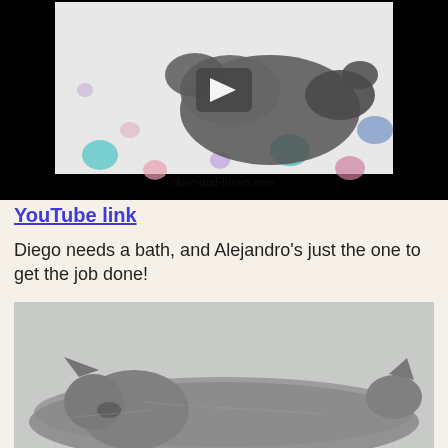[Figure (screenshot): Video thumbnail showing a gray cat lying on a polka-dot rug/blanket, with a play button overlay and watermark '@love-and-hisses.com']
YouTube link
Diego needs a bath, and Alejandro's just the one to get the job done!
[Figure (photo): Close-up photo of a gray cat lying down, viewed from the side, against a light gray background]